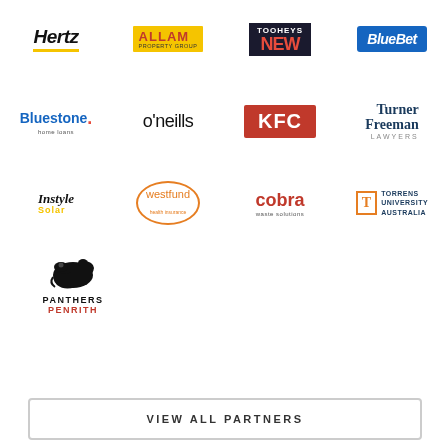[Figure (logo): Hertz car rental logo - black italic text with yellow underline]
[Figure (logo): Allam Property Group logo - red text on yellow background]
[Figure (logo): Tooheys New logo - white and red text on dark background]
[Figure (logo): BlueBet logo - white italic text on blue background]
[Figure (logo): Bluestone home loans logo - blue text with red dot]
[Figure (logo): O'Neills logo - black thin text]
[Figure (logo): KFC logo - white bold text on red background]
[Figure (logo): Turner Freeman Lawyers logo - navy serif text]
[Figure (logo): Instyle Solar logo - italic serif text with yellow Solar]
[Figure (logo): Westfund health insurance logo - orange circle text]
[Figure (logo): Cobra waste solutions logo - red bold text]
[Figure (logo): Torrens University Australia logo - navy and orange]
[Figure (logo): Panthers Penrith logo - black panther silhouette with text]
VIEW ALL PARTNERS